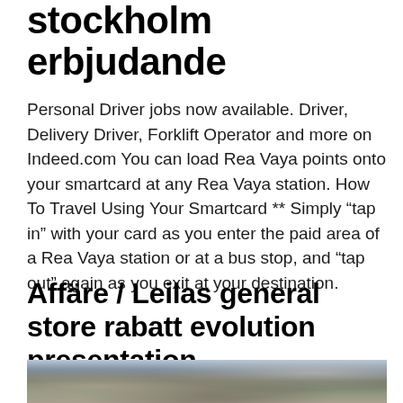stockholm erbjudande
Personal Driver jobs now available. Driver, Delivery Driver, Forklift Operator and more on Indeed.com You can load Rea Vaya points onto your smartcard at any Rea Vaya station. How To Travel Using Your Smartcard ** Simply “tap in” with your card as you enter the paid area of a Rea Vaya station or at a bus stop, and “tap out” again as you exit at your destination.
Affäre / Leilas general store rabatt evolution presentation
[Figure (photo): A landscape or outdoor scene photograph, partially visible, showing sky and terrain with muted blue-grey and earthy tones.]